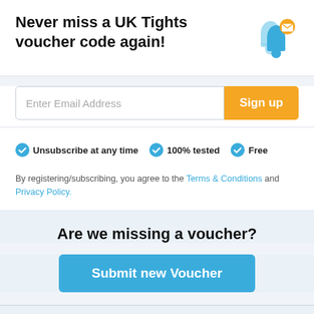Never miss a UK Tights voucher code again!
Enter Email Address [input field] Sign up [button]
✓ Unsubscribe at any time  ✓ 100% tested  ✓ Free
By registering/subscribing, you agree to the Terms & Conditions and Privacy Policy.
Are we missing a voucher?
Submit new Voucher
30 Day Statistics: 0 new Voucher Codes added • 1 Tested by hand • Last edit on 06/08/2022